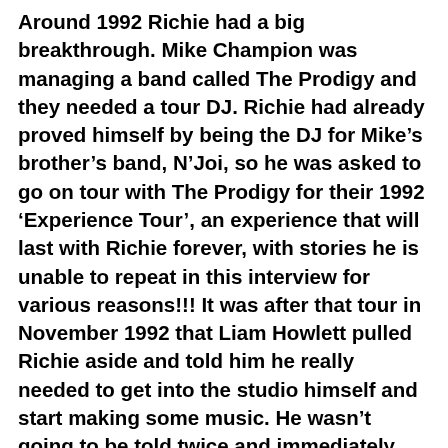Around 1992 Richie had a big breakthrough. Mike Champion was managing a band called The Prodigy and they needed a tour DJ. Richie had already proved himself by being the DJ for Mike's brother's band, N'Joi, so he was asked to go on tour with The Prodigy for their 1992 'Experience Tour', an experience that will last with Richie forever, with stories he is unable to repeat in this interview for various reasons!!! It was after that tour in November 1992 that Liam Howlett pulled Richie aside and told him he really needed to get into the studio himself and start making some music. He wasn't going to be told twice and immediately went over to see John (Tekniq) and called up his old pal Jay to see if he wanted to join them. By late 1992 and throughout 1993 the three of them were working together, sketching out ideas and honing their craft. "By this time we had a large catalogue of samples. Richie's